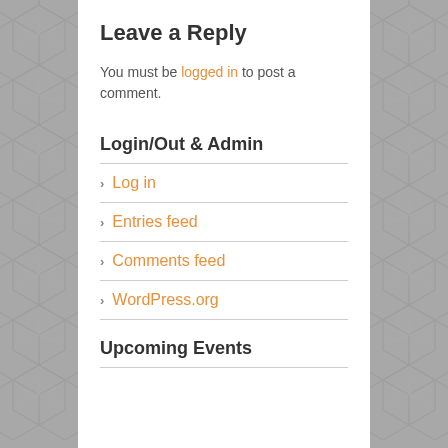Leave a Reply
You must be logged in to post a comment.
Login/Out & Admin
Log in
Entries feed
Comments feed
WordPress.org
Upcoming Events